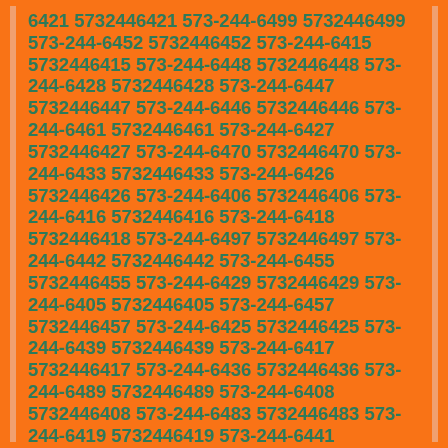6421 5732446421 573-244-6499 5732446499 573-244-6452 5732446452 573-244-6415 5732446415 573-244-6448 5732446448 573-244-6428 5732446428 573-244-6447 5732446447 573-244-6446 5732446446 573-244-6461 5732446461 573-244-6427 5732446427 573-244-6470 5732446470 573-244-6433 5732446433 573-244-6426 5732446426 573-244-6406 5732446406 573-244-6416 5732446416 573-244-6418 5732446418 573-244-6497 5732446497 573-244-6442 5732446442 573-244-6455 5732446455 573-244-6429 5732446429 573-244-6405 5732446405 573-244-6457 5732446457 573-244-6425 5732446425 573-244-6439 5732446439 573-244-6417 5732446417 573-244-6436 5732446436 573-244-6489 5732446489 573-244-6408 5732446408 573-244-6483 5732446483 573-244-6419 5732446419 573-244-6441 5732446441 573-244-6434 5732446434 573-244-6463 5732446463 573-244-6485 5732446485 573-244-6492 5732446492 573-244-6414 5732446414 573-244-6471 5732446471 573-244-6482 5732446482 573-244-6454 5732446454 573-244-6404 5732446404 573-244-6435 5732446435 573-244-6496 5732446496 573-244-6431 5732446431 573-244-6437 5732446437 573-